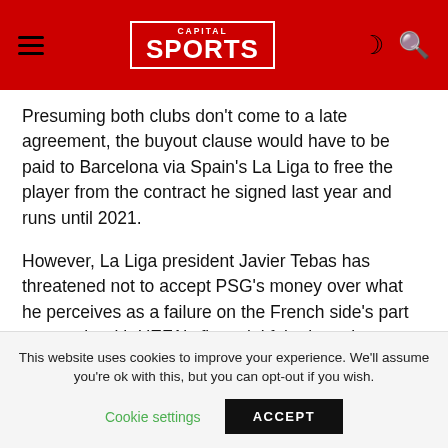CAPITAL SPORTS
Presuming both clubs don't come to a late agreement, the buyout clause would have to be paid to Barcelona via Spain's La Liga to free the player from the contract he signed last year and runs until 2021.
However, La Liga president Javier Tebas has threatened not to accept PSG's money over what he perceives as a failure on the French side's part to comply with UEFA's financial fair play rules (FFP).
Clubs can be sanctioned by UEFA for making a loss of more than 30 million euros over a three-year period.
This website uses cookies to improve your experience. We'll assume you're ok with this, but you can opt-out if you wish.
Cookie settings  ACCEPT